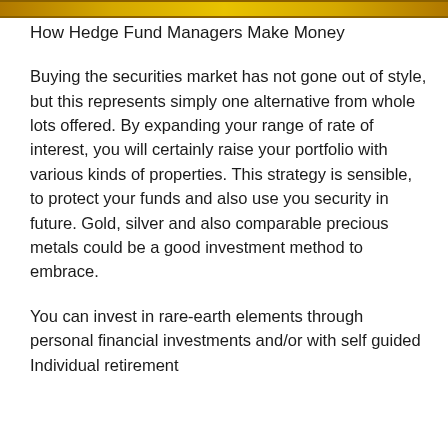[Figure (other): Golden/yellow horizontal banner bar at top of page]
How Hedge Fund Managers Make Money
Buying the securities market has not gone out of style, but this represents simply one alternative from whole lots offered. By expanding your range of rate of interest, you will certainly raise your portfolio with various kinds of properties. This strategy is sensible, to protect your funds and also use you security in future. Gold, silver and also comparable precious metals could be a good investment method to embrace.
You can invest in rare-earth elements through personal financial investments and/or with self guided Individual retirement